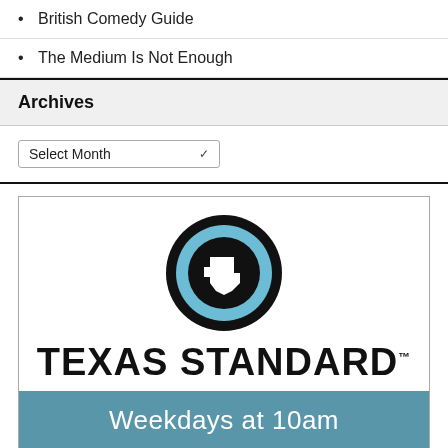British Comedy Guide
The Medium Is Not Enough
Archives
Select Month
[Figure (logo): Texas Standard radio show advertisement with circular Texas logo, 'TEXAS STANDARD' bold text, 'Weekdays at 10am' banner, and KERA fm logo]